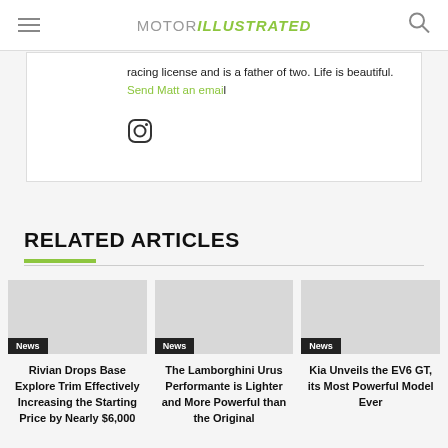MOTOR ILLUSTRATED
racing license and is a father of two. Life is beautiful. Send Matt an email
[Figure (other): Instagram icon]
RELATED ARTICLES
News — Rivian Drops Base Explore Trim Effectively Increasing the Starting Price by Nearly $6,000
News — The Lamborghini Urus Performante is Lighter and More Powerful than the Original
News — Kia Unveils the EV6 GT, its Most Powerful Model Ever